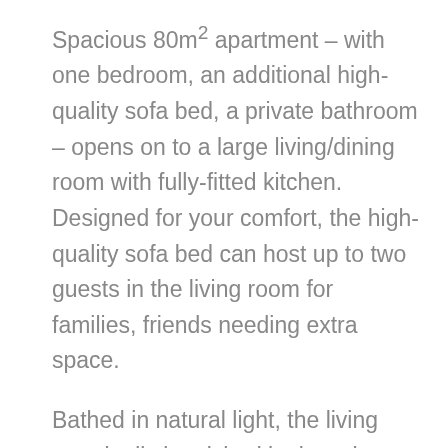Spacious 80m² apartment – with one bedroom, an additional high-quality sofa bed, a private bathroom – opens on to a large living/dining room with fully-fitted kitchen. Designed for your comfort, the high-quality sofa bed can host up to two guests in the living room for families, friends needing extra space.
Bathed in natural light, the living area is distinguished by its sub-ceiling height and its three aligned chandeliers – which creates a bright and cosy environment. With its refined decoration, the apartment is dominated by the use of colours and gives you comfort, but also excursion in mind. The sitting area will charm you with its wooden parquet floors, large convertible sofa and soft rugs